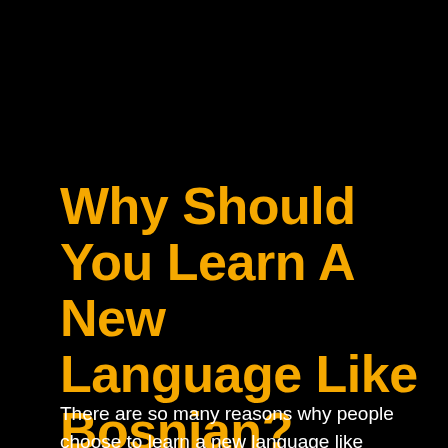Why Should You Learn A New Language Like Bosnian?
There are so many reasons why people choose to learn a new language like